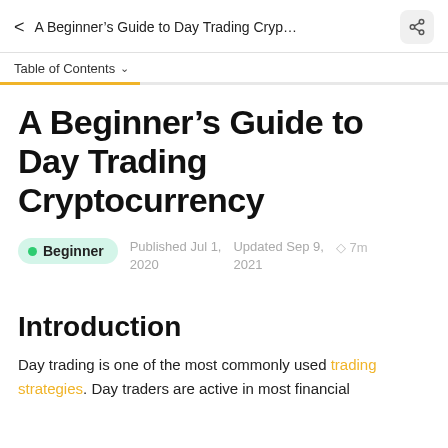< A Beginner's Guide to Day Trading Cryp... [share icon]
Table of Contents ▼
A Beginner's Guide to Day Trading Cryptocurrency
• Beginner   Published Jul 1, 2020   Updated Sep 9, 2021   ◇ 7m
Introduction
Day trading is one of the most commonly used trading strategies. Day traders are active in most financial